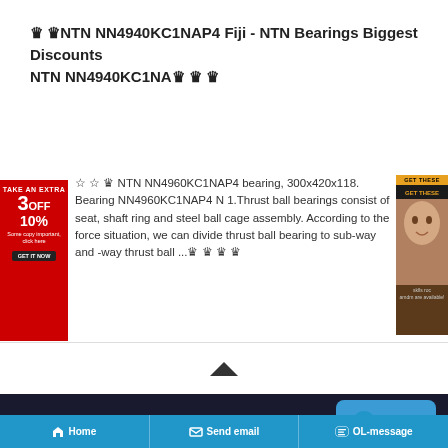🏆🏆NTN NN4940KC1NAP4 Fiji - NTN Bearings Biggest Discounts NTN NN4940KC1NA🏆🏆🏆
[Figure (infographic): Red advertisement banner on left side: TAKE AN EXTRA 3 OFF 10% with GET IT NOW button]
🌸🌸🏆 NTN NN4960KC1NAP4 bearing, 300x420x118. Bearing NN4960KC1NAP4 N 1.Thrust ball bearings consist of seat, shaft ring and steel ball cage assembly. According to the force situation, we can divide thrust ball bearing to sub-way and -way thrust ball ...🏆🏆🏆🏆
[Figure (photo): Brown advertisement banner on right side with woman's face photo]
[Figure (infographic): Chevron/caret up arrow indicating scroll up]
GBS Bearing CO.,LTD.
[Figure (infographic): Blue contact button with smiley icon and 'contact' text]
Home | Send email | OL-message